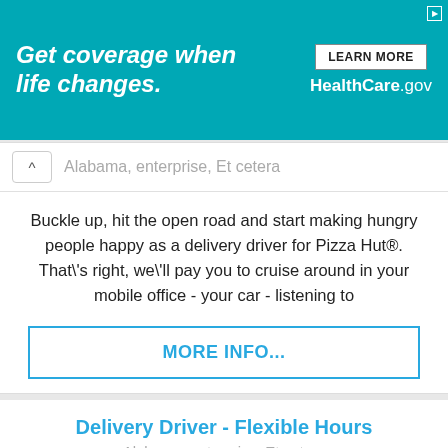[Figure (other): HealthCare.gov advertisement banner with teal background. Text: 'Get coverage when life changes.' with a 'LEARN MORE' button and 'HealthCare.gov' branding on the right.]
Alabama, enterprise, Et cetera
Buckle up, hit the open road and start making hungry people happy as a delivery driver for Pizza Hut®. That\'s right, we\'ll pay you to cruise around in your mobile office - your car - listening to
MORE INFO...
Delivery Driver - Flexible Hours
Alabama, enterprise, Et cetera
Buckle up, hit the open road and start making hungry people happy as a delivery driver for Pizza Hut®. That\'s right, we\'ll pay you to cruise